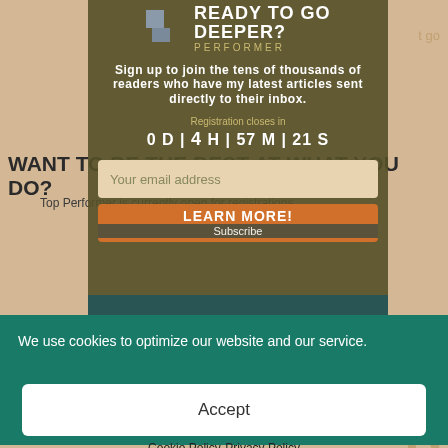[Figure (screenshot): Website modal overlay on a tan/beige background page. The modal has a dark olive/khaki background with 'READY TO GO DEEPER?' heading with a 'Top Performer' logo. Beneath shows text 'WANT TO BE THE BEST AT WHAT YOU DO?' with subtext about joining thousands of readers. A countdown timer shows '0 D | 4 H | 57 M | 21 S'. An email input field and an orange 'LEARN MORE! Subscribe' button are shown. A dark teal bottom band follows.]
We use cookies to optimize our website and our service.
Accept
Cookie Policy   Privacy Policy